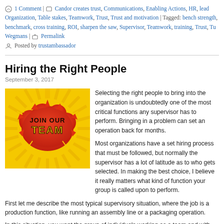1 Comment | Candor creates trust, Communications, Enabling Actions, HR, leadership, Organization, Table stakes, Teamwork, Trust, Trust and motivation | Tagged: bench strength, benchmark, cross training, ROI, sharpen the saw, Supervisor, Teamwork, training, Trust, Tu… Wegmans | Permalink
Posted by trustambassador
Hiring the Right People
September 3, 2017
[Figure (illustration): JOIN OUR TEAM badge illustration with red cloud burst on yellow sunburst background]
Selecting the right people to bring into the organization is undoubtedly one of the most critical functions any supervisor has to perform. Bringing in a problem can set an operation back for months.

Most organizations have a set hiring process that must be followed, but normally the supervisor has a lot of latitude as to who gets selected. In making the best choice, I believe it really matters what kind of function your group is called upon to perform.
First let me describe the most typical supervisory situation, where the job is a production function, like running an assembly line or a packaging operation.
In this situation, you want the group of individuals working as a team and with the ability to swap workers to different stations as the situation requires it.